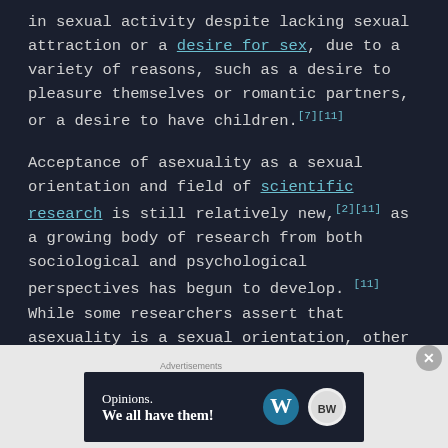in sexual activity despite lacking sexual attraction or a desire for sex, due to a variety of reasons, such as a desire to pleasure themselves or romantic partners, or a desire to have children.[7][11]
Acceptance of asexuality as a sexual orientation and field of scientific research is still relatively new,[2][11] as a growing body of research from both sociological and psychological perspectives has begun to develop. [11] While some researchers assert that asexuality is a sexual orientation, other [4][5]...
[Figure (screenshot): Advertisement banner: dark background with text 'Opinions. We all have them!' alongside WordPress and another logo]